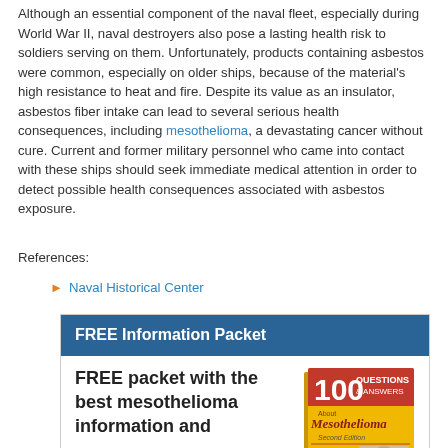Although an essential component of the naval fleet, especially during World War II, naval destroyers also pose a lasting health risk to soldiers serving on them. Unfortunately, products containing asbestos were common, especially on older ships, because of the material's high resistance to heat and fire. Despite its value as an insulator, asbestos fiber intake can lead to several serious health consequences, including mesothelioma, a devastating cancer without cure. Current and former military personnel who came into contact with these ships should seek immediate medical attention in order to detect possible health consequences associated with asbestos exposure.
References:
Naval Historical Center
[Figure (infographic): FREE Information Packet promotional box with blue header and book cover image showing '100 Questions & Answers About Mesothelioma Second Edition'. Left side shows text: FREE packet with the best mesothelioma information and]